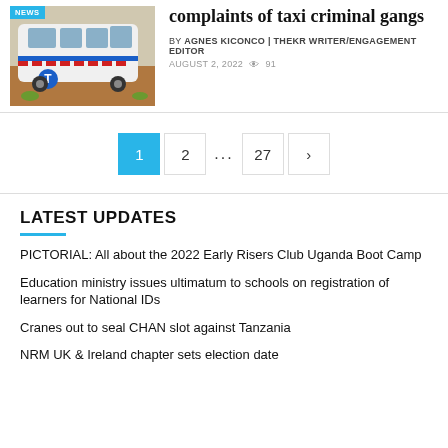[Figure (photo): White taxi van with blue and red checkered stripe pattern and a T logo, NEWS badge in top left corner]
complaints of taxi criminal gangs
BY AGNES KICONCO | THEKR WRITER/ENGAGEMENT EDITOR
AUGUST 2, 2022  91
1  2  ...  27  >
LATEST UPDATES
PICTORIAL: All about the 2022 Early Risers Club Uganda Boot Camp
Education ministry issues ultimatum to schools on registration of learners for National IDs
Cranes out to seal CHAN slot against Tanzania
NRM UK & Ireland chapter sets election date